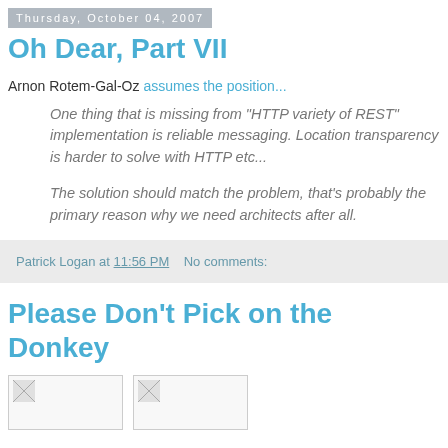Thursday, October 04, 2007
Oh Dear, Part VII
Arnon Rotem-Gal-Oz assumes the position...
One thing that is missing from "HTTP variety of REST" implementation is reliable messaging. Location transparency is harder to solve with HTTP etc...
The solution should match the problem, that's probably the primary reason why we need architects after all.
Patrick Logan at 11:56 PM   No comments:
Please Don't Pick on the Donkey
[Figure (photo): Two image thumbnails shown side by side]